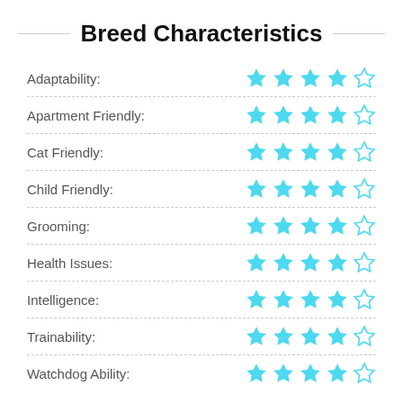Breed Characteristics
| Characteristic | Rating |
| --- | --- |
| Adaptability: | 4/5 |
| Apartment Friendly: | 4/5 |
| Cat Friendly: | 4/5 |
| Child Friendly: | 4/5 |
| Grooming: | 4/5 |
| Health Issues: | 4/5 |
| Intelligence: | 4/5 |
| Trainability: | 4/5 |
| Watchdog Ability: | 4/5 |